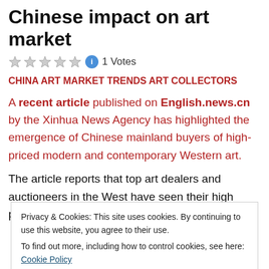Chinese impact on art market
1 Votes
CHINA ART MARKET TRENDS ART COLLECTORS
A recent article published on English.news.cn by the Xinhua News Agency has highlighted the emergence of Chinese mainland buyers of high-priced modern and contemporary Western art.
The article reports that top art dealers and auctioneers in the West have seen their high profile works go to mainland
Privacy & Cookies: This site uses cookies. By continuing to use this website, you agree to their use.
To find out more, including how to control cookies, see here: Cookie Policy
Close and accept